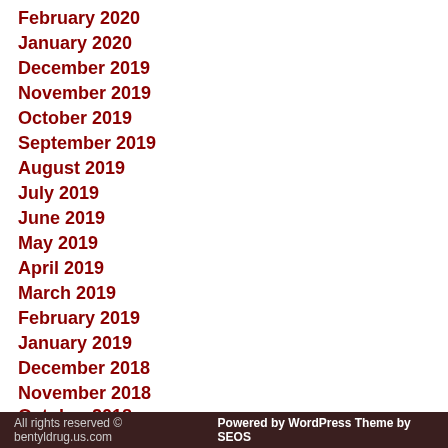February 2020
January 2020
December 2019
November 2019
October 2019
September 2019
August 2019
July 2019
June 2019
May 2019
April 2019
March 2019
February 2019
January 2019
December 2018
November 2018
October 2018
Selamat datang di VIVA99 sebagai pihak penyelengara situs judi slot online terpercaya di indonesia yang memberikan fasilitas terbaik.
All rights reserved © bentyldrug.us.com Powered by WordPress Theme by SEOS